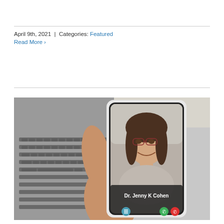April 9th, 2021  |  Categories: Featured
Read More ›
[Figure (photo): A hand holding a smartphone displaying a video call with Dr. Jenny K Cohen, a woman with long brown hair and red-framed glasses, smiling. The phone screen shows her name 'Dr. Jenny K Cohen' in a dark overlay at the bottom, with call control buttons. Background shows a laptop keyboard, blurred.]